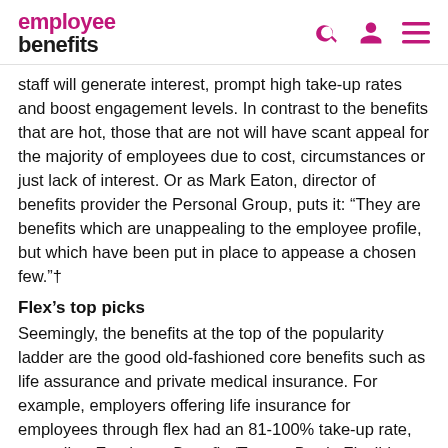employee benefits
staff will generate interest, prompt high take-up rates and boost engagement levels. In contrast to the benefits that are hot, those that are not will have scant appeal for the majority of employees due to cost, circumstances or just lack of interest. Or as Mark Eaton, director of benefits provider the Personal Group, puts it: “They are benefits which are unappealing to the employee profile, but which have been put in place to appease a chosen few.”†
Flex’s top picks
Seemingly, the benefits at the top of the popularity ladder are the good old-fashioned core benefits such as life assurance and private medical insurance. For example, employers offering life insurance for employees through flex had an 81-100% take-up rate, according Employee Benefits/Towers Perrin Flexible Benefits Research 2007. Benefits such as life insurance have been around